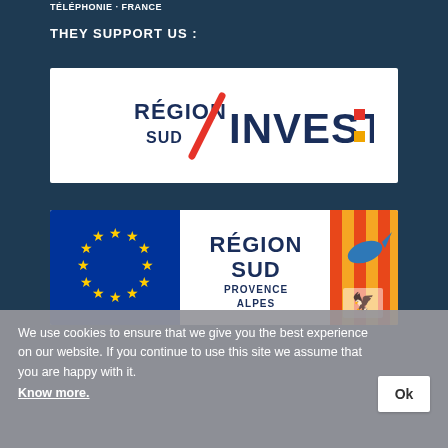THEY SUPPORT US :
THEY SUPPORT US :
[Figure (logo): Région Sud / INVEST: logo — dark blue text 'RÉGION SUD' with a red diagonal slash and bold dark blue 'INVEST:' with red square colon]
[Figure (logo): EU flag (blue background with yellow stars circle) next to 'RÉGION SUD Provence Alpes' text and Provence heraldic coat of arms on orange/yellow background]
We use cookies to ensure that we give you the best experience on our website. If you continue to use this site we assume that you are happy with it.
Know more.